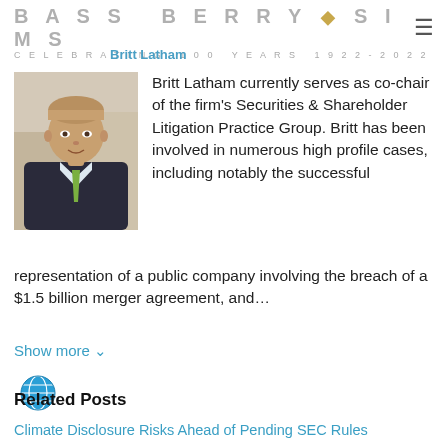BASS BERRY ◆ SIMS
CELEBRATING 100 YEARS 1922–2022
Britt Latham
[Figure (photo): Headshot of Britt Latham, a man in a dark suit with a green tie, smiling, with a blurred office background.]
Britt Latham currently serves as co-chair of the firm's Securities & Shareholder Litigation Practice Group. Britt has been involved in numerous high profile cases, including notably the successful representation of a public company involving the breach of a $1.5 billion merger agreement, and…
Show more ∨
[Figure (illustration): Blue globe/world icon]
Related Posts
Climate Disclosure Risks Ahead of Pending SEC Rules